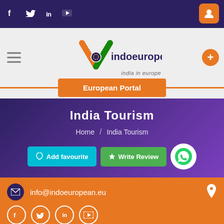Social icons: f, Twitter, in, YouTube | User account button
[Figure (logo): indoeuropean.eu logo with Indian flag and EU stars motif, tagline: india in europe]
European Portal
India Tourism
Home / India Tourism
Add favourite | Write Review | WhatsApp
info@indoeuropean.eu | Social icons: f, Twitter, in, YouTube